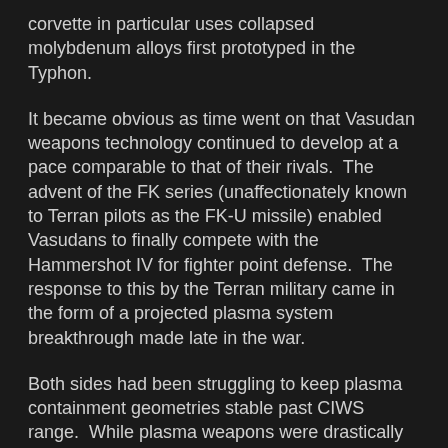corvette in particular uses collapsed molybdenum alloys first prototyped in the Typhon.
It became obvious as time went on that Vasudan weapons technology continued to develop at a pace comparable to that of their rivals.  The advent of the FK series (unaffectionately known to Terran pilots as the FK-U missile) enabled Vasudans to finally compete with the Hammershot IV for fighter point defense.  The response to this by the Terran military came in the form of a projected plasma system breakthrough made late in the war.
Both sides had been struggling to keep plasma containment geometries stable past CIWS range.  While plasma weapons were drastically more powerful than any comparable missile delivery system, they were decidedly short ranged.  When physicists at the Rechenzentrum Garching announced the results of simulations of subspace field induced propagating plasma mirrors, the reponse was decisive.  A prototype was quickly produced and the result was the Palomyr, the first long range plasma